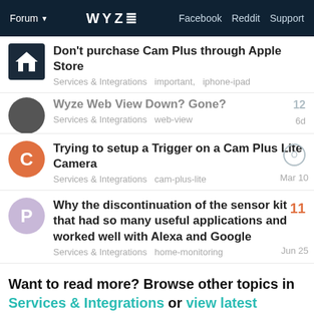Forum  WYZE  Facebook  Reddit  Support
Don't purchase Cam Plus through Apple Store — Services & Integrations  important, iphone-ipad
Wyze Web View Down? Gone? — Services & Integrations  web-view — 6d — 12
Trying to setup a Trigger on a Cam Plus Lite Camera — Services & Integrations  cam-plus-lite — Mar 10
Why the discontinuation of the sensor kit that had so many useful applications and worked well with Alexa and Google — Services & Integrations  home-monitoring — Jun 25 — 11
Want to read more? Browse other topics in Services & Integrations or view latest topics.